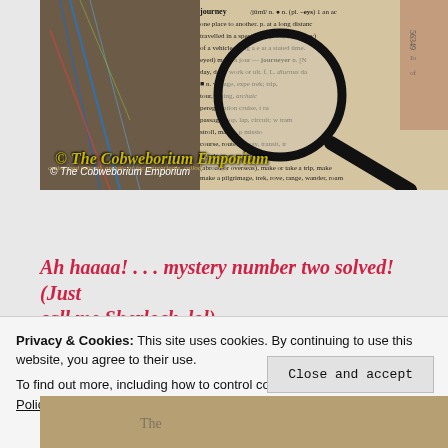[Figure (photo): A photo showing a magnifying glass over dictionary text with the word 'journey' visible, colorful threads in background, a ticket stub, and overlaid text reading '© The Cobweborium Emporium']
Ah haaaa! . . . mystery number two solved! (Just call me Sherlock. lol)
Privacy & Cookies: This site uses cookies. By continuing to use this website, you agree to their use.
To find out more, including how to control cookies, see here: Cookie Policy
Close and accept
[Figure (photo): Partial bottom image showing currency or decorative paper]